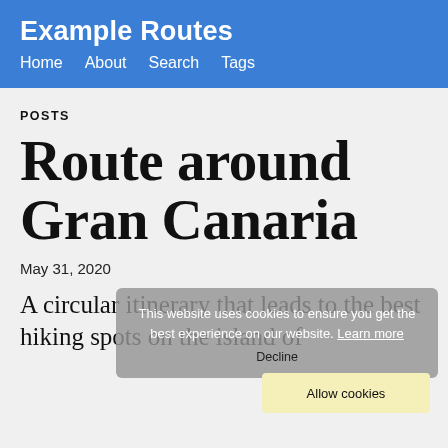Example Routes
Home   About   Search   Tags
POSTS
Route around Gran Canaria
May 31, 2020
This website uses cookies to ensure you get the best experience on our website. Learn more
A circular itinerary that leads to the best hiking spots on the island of